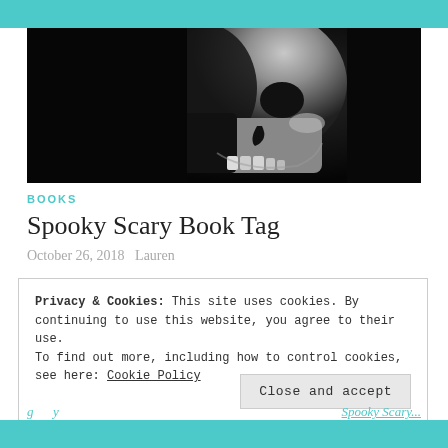[Figure (photo): Black and white close-up photo of a human skull against a dark background, lit from the side revealing bone detail]
BOOKS
Spooky Scary Book Tag
October 26, 2018   Lauren
Privacy & Cookies: This site uses cookies. By continuing to use this website, you agree to their use.
To find out more, including how to control cookies, see here: Cookie Policy
Close and accept